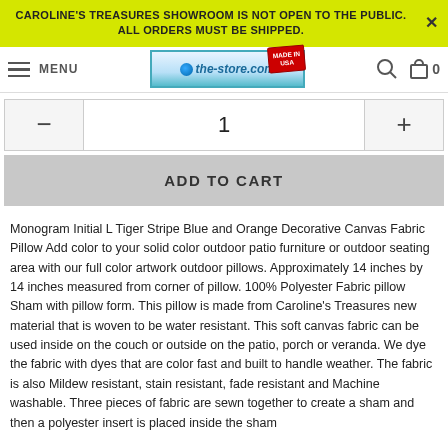CAROLINE'S TREASURES SHOWROOM IS NOT OPEN TO THE PUBLIC. ALL ORDERS MUST BE SHIPPED.
[Figure (screenshot): Navigation bar with menu icon, the-store.com logo with Made in USA stamp, search icon, and cart icon showing 0 items]
1
ADD TO CART
Monogram Initial L Tiger Stripe Blue and Orange Decorative Canvas Fabric Pillow Add color to your solid color outdoor patio furniture or outdoor seating area with our full color artwork outdoor pillows. Approximately 14 inches by 14 inches measured from corner of pillow. 100% Polyester Fabric pillow Sham with pillow form. This pillow is made from Caroline's Treasures new material that is woven to be water resistant. This soft canvas fabric can be used inside on the couch or outside on the patio, porch or veranda. We dye the fabric with dyes that are color fast and built to handle weather. The fabric is also Mildew resistant, stain resistant, fade resistant and Machine washable. Three pieces of fabric are sewn together to create a sham and then a polyester insert is placed inside the sham